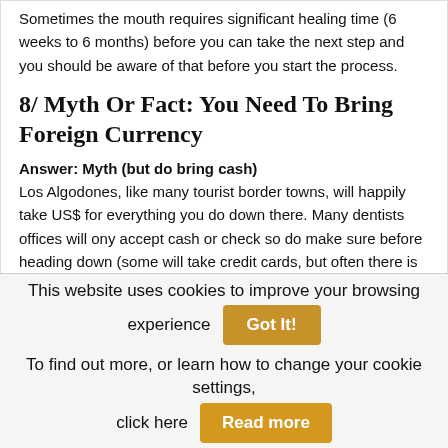Sometimes the mouth requires significant healing time (6 weeks to 6 months) before you can take the next step and you should be aware of that before you start the process.
8/ Myth Or Fact: You Need To Bring Foreign Currency
Answer: Myth (but do bring cash)
Los Algodones, like many tourist border towns, will happily take US$ for everything you do down there. Many dentists offices will ony accept cash or check so do make sure before heading down (some will take credit cards, but often there is an extra charge). All
This website uses cookies to improve your browsing experience   Got It!
To find out more, or learn how to change your cookie settings, click here   Read more